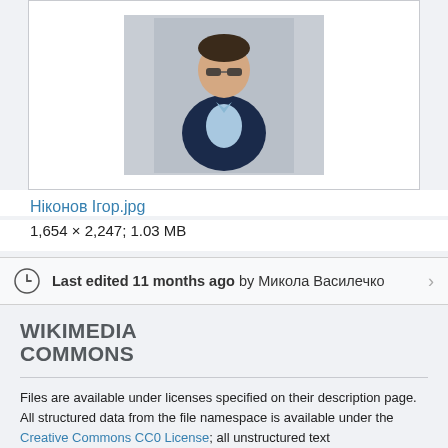[Figure (photo): Photo of a man wearing sunglasses and a dark blazer over a light blue shirt, sitting in a relaxed pose against a grey background.]
Ніконов Ігор.jpg
1,654 × 2,247; 1.03 MB
Last edited 11 months ago by Микола Василечко
WIKIMEDIA COMMONS
Files are available under licenses specified on their description page. All structured data from the file namespace is available under the Creative Commons CC0 License; all unstructured text